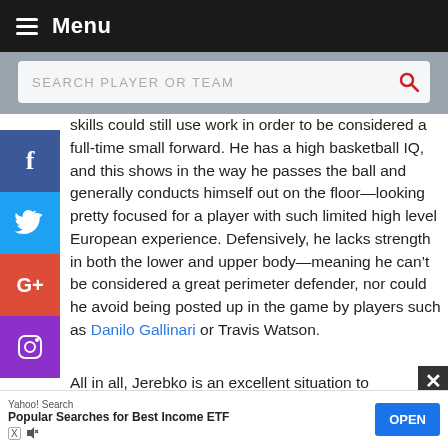Menu
SEARCH PLAYER OR TEAM
skills could still use work in order to be considered a full-time small forward. He has a high basketball IQ, and this shows in the way he passes the ball and generally conducts himself out on the floor—looking pretty focused for a player with such limited high level European experience. Defensively, he lacks strength in both the lower and upper body—meaning he can’t be considered a great perimeter defender, nor could he avoid being posted up in the game by players such as Danilo Gallinari or Travis Watson.
All in all, Jerebko is an excellent situation to continue to develop as a basketball prospect,
Yahoo! Search
Popular Searches for Best Income ETF
OPEN